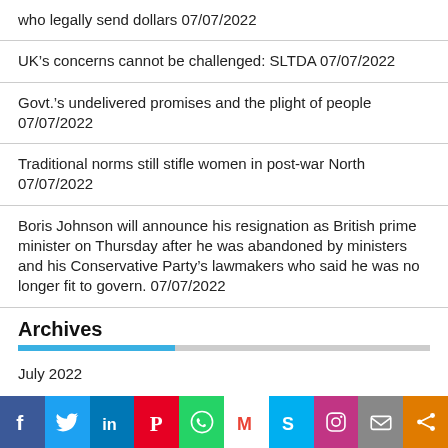who legally send dollars 07/07/2022
UK’s concerns cannot be challenged: SLTDA 07/07/2022
Govt.’s undelivered promises and the plight of people 07/07/2022
Traditional norms still stifle women in post-war North 07/07/2022
Boris Johnson will announce his resignation as British prime minister on Thursday after he was abandoned by ministers and his Conservative Party’s lawmakers who said he was no longer fit to govern. 07/07/2022
Archives
July 2022
[Figure (infographic): Social media sharing bar with icons: Facebook, Twitter, LinkedIn, Pinterest, WhatsApp, Gmail, Skype, Instagram, Email, Share]